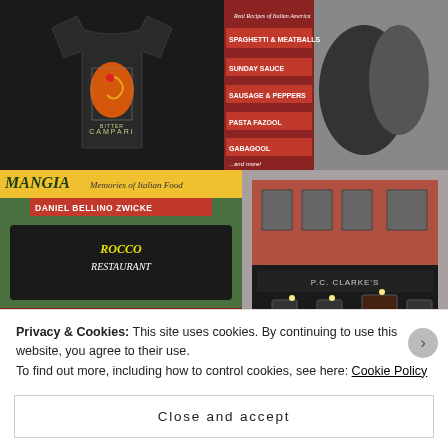[Figure (photo): Black t-shirt with Bitter Campari logo graphic]
[Figure (photo): Black and white photo with Italian food menu overlay listing: Spaghetti & Meatballs, Sunday Sauce, Sausage & Peppers, Pasta Fazool, Gabagool, and more]
[Figure (photo): Book cover: MANGIA - Memories of Italian Food by Daniel Bellino Zwicke, featuring Rocco Restaurant sign, Stories & Recipes, Red Sauce Joints, Pasta, That's Italian]
[Figure (photo): Exterior photo of a classic red brick building restaurant with black facade, appears to be P.C. Clarke's or similar establishment]
Privacy & Cookies: This site uses cookies. By continuing to use this website, you agree to their use.
To find out more, including how to control cookies, see here: Cookie Policy
Close and accept